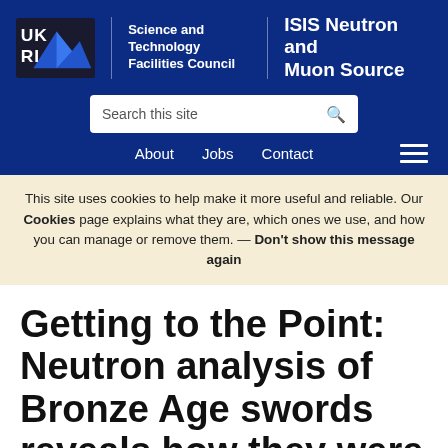[Figure (logo): UKRI Science and Technology Facilities Council — ISIS Neutron and Muon Source logo and site header]
This site uses cookies to help make it more useful and reliable. Our Cookies page explains what they are, which ones we use, and how you can manage or remove them. — Don't show this message again
Getting to the Point: Neutron analysis of Bronze Age swords reveals how they were used